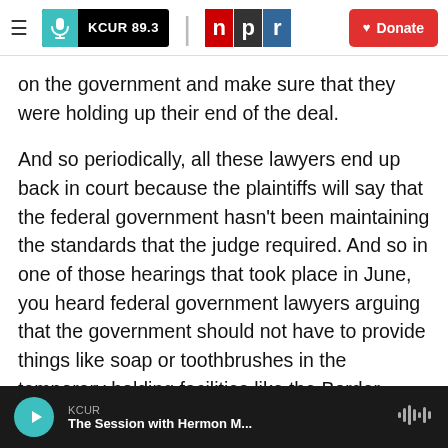KCUR 89.3 | npr | Donate
on the government and make sure that they were holding up their end of the deal.
And so periodically, all these lawyers end up back in court because the plaintiffs will say that the federal government hasn't been maintaining the standards that the judge required. And so in one of those hearings that took place in June, you heard federal government lawyers arguing that the government should not have to provide things like soap or toothbrushes in the temporary holding facilities like the Border Patrol station in Clint, Texas.
KCUR — The Session with Hermon M...